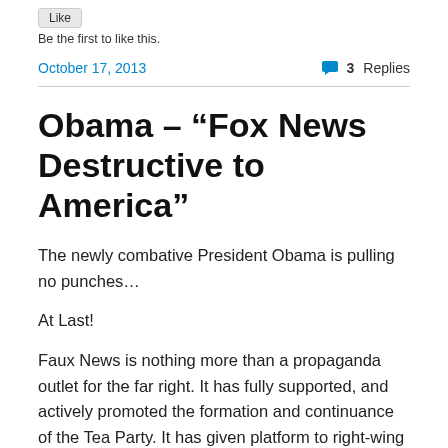Be the first to like this.
October 17, 2013    3 Replies
Obama – “Fox News Destructive to America”
The newly combative President Obama is pulling no punches…
At Last!
Faux News is nothing more than a propaganda outlet for the far right. It has fully supported, and actively promoted the formation and continuance of the Tea Party. It has given platform to right-wing whack jobs, and actively